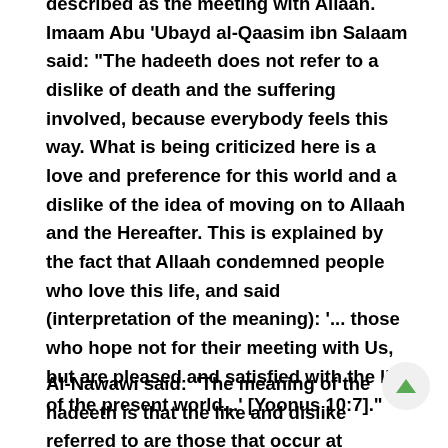described as the meeting with Allaah. Imaam Abu 'Ubayd al-Qaasim ibn Salaam said: "The hadeeth does not refer to a dislike of death and the suffering involved, because everybody feels this way. What is being criticized here is a love and preference for this world and a dislike of the idea of moving on to Allaah and the Hereafter. This is explained by the fact that Allaah condemned people who love this life, and said (interpretation of the meaning): '... those who hope not for their meeting with Us, but are pleased and satisfied with the life of the present world...' [Yoonus 10:7]."
Al-Nawawi said: "The meaning of the hadeeth is that the like and dislike referred to are those that occur at